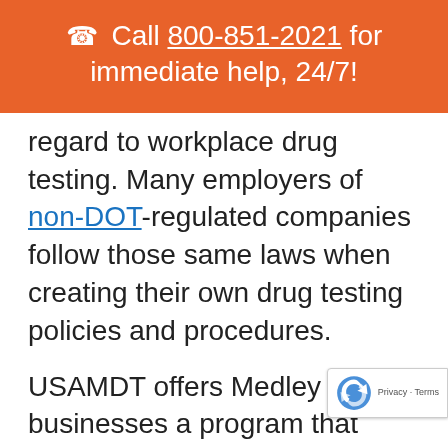📞 Call 800-851-2021 for immediate help, 24/7!
regard to workplace drug testing. Many employers of non-DOT-regulated companies follow those same laws when creating their own drug testing policies and procedures.
USAMDT offers Medley businesses a program that tailors your drug testing policies for your unique needs. We'll even create and then implement your